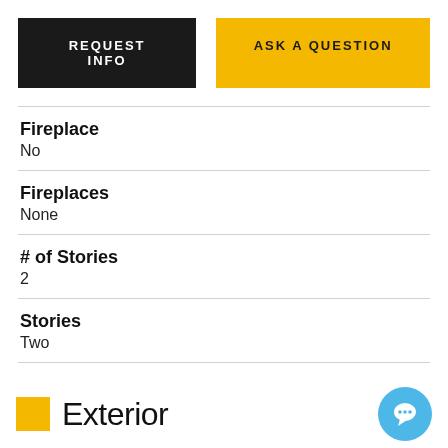[Figure (other): Two call-to-action buttons: REQUEST INFO (dark background) and ASK A QUESTION (yellow background)]
Fireplace
No
Fireplaces
None
# of Stories
2
Stories
Two
Exterior